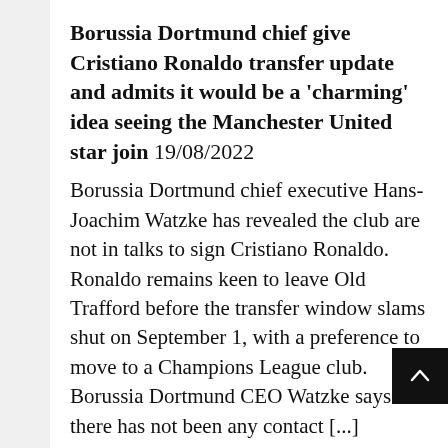Borussia Dortmund chief give Cristiano Ronaldo transfer update and admits it would be a 'charming' idea seeing the Manchester United star join 19/08/2022
Borussia Dortmund chief executive Hans-Joachim Watzke has revealed the club are not in talks to sign Cristiano Ronaldo. Ronaldo remains keen to leave Old Trafford before the transfer window slams shut on September 1, with a preference to move to a Champions League club. Borussia Dortmund CEO Watzke says there has not been any contact [...]
Lee Davey
Manchester United transfer news LIVE: Club reach full agreement for Casemiro